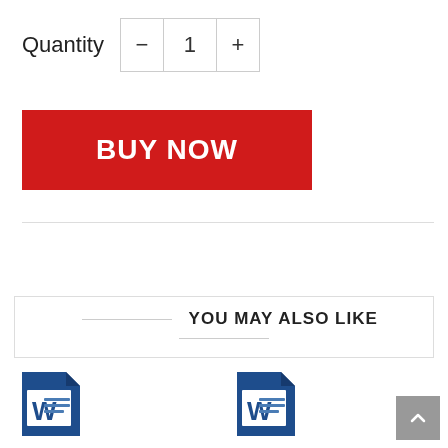Quantity — 1 +
[Figure (other): BUY NOW red button]
YOU MAY ALSO LIKE
[Figure (other): Word document icon for Adoption Complete Solution 1.00]
Adoption Complete Solution 1.00
[Figure (other): Word document icon for Adoption Complete Solution 2]
Adoption Complete Solution 2